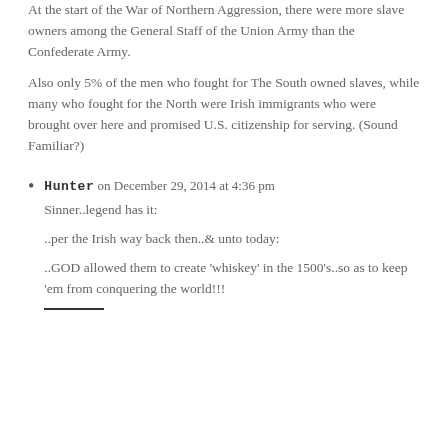At the start of the War of Northern Aggression, there were more slave owners among the General Staff of the Union Army than the Confederate Army.
Also only 5% of the men who fought for The South owned slaves, while many who fought for the North were Irish immigrants who were brought over here and promised U.S. citizenship for serving. (Sound Familiar?)
Hunter on December 29, 2014 at 4:36 pm

Sinner..legend has it:

..per the Irish way back then..& unto today:

..GOD allowed them to create ‘whiskey’ in the 1500’s..so as to keep ‘em from conquering the world!!!